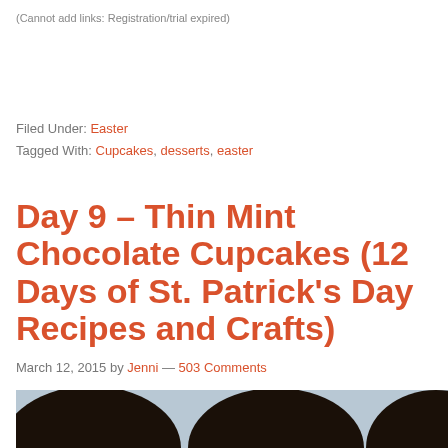(Cannot add links: Registration/trial expired)
Filed Under: Easter
Tagged With: Cupcakes, desserts, easter
Day 9 – Thin Mint Chocolate Cupcakes (12 Days of St. Patrick's Day Recipes and Crafts)
March 12, 2015 by Jenni — 503 Comments
[Figure (photo): Close-up photo of dark chocolate cupcakes (Thin Mint style), dark round tops visible against a light background]